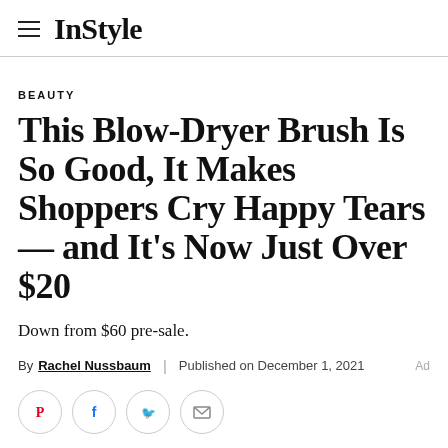InStyle
BEAUTY
This Blow-Dryer Brush Is So Good, It Makes Shoppers Cry Happy Tears — and It's Now Just Over $20
Down from $60 pre-sale.
By Rachel Nussbaum | Published on December 1, 2021  Ad
[Figure (other): Social share icons: Pinterest, Facebook, Twitter, Email]